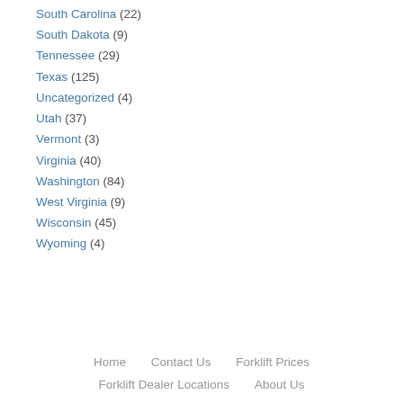South Carolina (22)
South Dakota (9)
Tennessee (29)
Texas (125)
Uncategorized (4)
Utah (37)
Vermont (3)
Virginia (40)
Washington (84)
West Virginia (9)
Wisconsin (45)
Wyoming (4)
Home   Contact Us   Forklift Prices   Forklift Dealer Locations   About Us